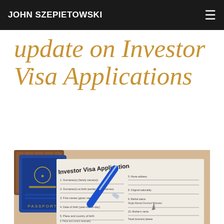JOHN SZEPIETOWSKI
update on Investor Visa Applications
[Figure (photo): Photo of an Investor Visa Application form on a desk with a blue pen resting on it and a blue passport with a brown leather cover in the background.]